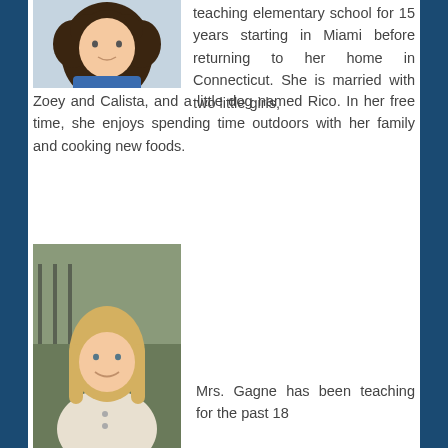[Figure (photo): Headshot of a woman with curly hair wearing a blue top]
teaching elementary school for 15 years starting in Miami before returning to her home in Connecticut. She is married with two little girls, Zoey and Calista, and a little dog named Rico. In her free time, she enjoys spending time outdoors with her family and cooking new foods.
[Figure (photo): Headshot of a woman with blonde hair wearing a light-colored top, photographed outdoors]
Mrs. Gagne has been teaching for the past 18